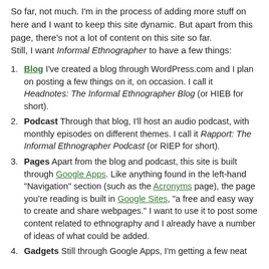So far, not much. I'm in the process of adding more stuff on here and I want to keep this site dynamic. But apart from this page, there's not a lot of content on this site so far. Still, I want Informal Ethnographer to have a few things:
Blog I've created a blog through WordPress.com and I plan on posting a few things on it, on occasion. I call it Headnotes: The Informal Ethnographer Blog (or HIEB for short).
Podcast Through that blog, I'll host an audio podcast, with monthly episodes on different themes. I call it Rapport: The Informal Ethnographer Podcast (or RIEP for short).
Pages Apart from the blog and podcast, this site is built through Google Apps. Like anything found in the left-hand "Navigation" section (such as the Acronyms page), the page you're reading is built in Google Sites, "a free and easy way to create and share webpages." I want to use it to post some content related to ethnography and I already have a number of ideas of what could be added.
Gadgets Still through Google Apps, I'm getting a few neat